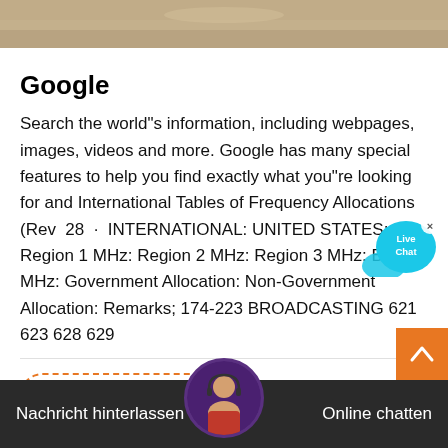[Figure (photo): Top strip showing a sandy/earthy surface photograph]
Google
Search the world"s information, including webpages, images, videos and more. Google has many special features to help you find exactly what you"re looking for and International Tables of Frequency Allocations (Rev 28 · INTERNATIONAL: UNITED STATES; Region 1 MHz: Region 2 MHz: Region 3 MHz: Band MHz: Government Allocation: Non-Government Allocation: Remarks; 174-223 BROADCASTING 621 623 628 629
[Figure (illustration): Live Chat speech bubble icon with cyan/blue color and × close button]
Preis bekommen
[Figure (photo): Customer service avatar - woman with headset in circular frame]
Nachricht hinterlassen   Online chatten